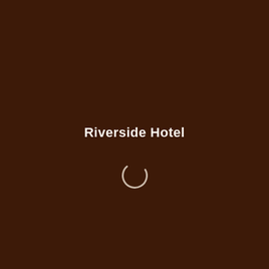Riverside Hotel
[Figure (other): A circular loading spinner icon, partially white arc on a dark brown background, indicating a loading state.]